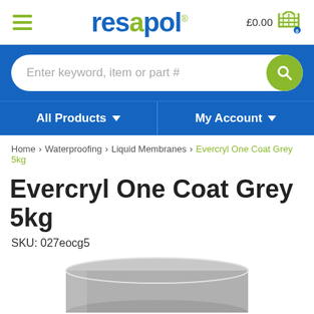[Figure (logo): Resapol logo with hamburger menu and shopping cart showing £0.00]
[Figure (screenshot): Search bar with placeholder text 'Enter keyword, item or part #' and green search button, on blue background]
[Figure (screenshot): Navigation bar with 'All Products' and 'My Account' buttons on blue background]
Home › Waterproofing › Liquid Membranes › Evercryl One Coat Grey 5kg
Evercryl One Coat Grey 5kg
SKU: 027eocg5
[Figure (photo): Bottom portion of a grey paint/product tin visible at the bottom of the page]